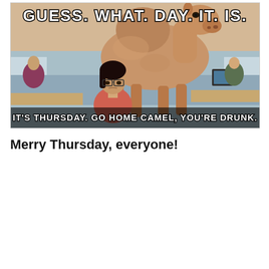[Figure (photo): A meme image showing a large camel standing in an office cubicle environment over a woman with glasses and dark hair. Top text reads 'GUESS. WHAT. DAY. IT. IS.' and bottom text reads 'IT'S THURSDAY. GO HOME CAMEL, YOU'RE DRUNK.']
Merry Thursday, everyone!